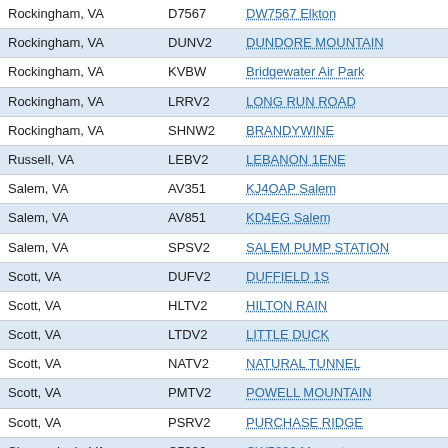| Rockingham, VA | D7567 | DW7567 Elkton |
| Rockingham, VA | DUNV2 | DUNDORE MOUNTAIN |
| Rockingham, VA | KVBW | Bridgewater Air Park |
| Rockingham, VA | LRRV2 | LONG RUN ROAD |
| Rockingham, VA | SHNW2 | BRANDYWINE |
| Russell, VA | LEBV2 | LEBANON 1ENE |
| Salem, VA | AV351 | KJ4OAP Salem |
| Salem, VA | AV851 | KD4EG Salem |
| Salem, VA | SPSV2 | SALEM PUMP STATION |
| Scott, VA | DUFV2 | DUFFIELD 1S |
| Scott, VA | HLTV2 | HILTON RAIN |
| Scott, VA | LTDV2 | LITTLE DUCK |
| Scott, VA | NATV2 | NATURAL TUNNEL |
| Scott, VA | PMTV2 | POWELL MOUNTAIN |
| Scott, VA | PSRV2 | PURCHASE RIDGE |
| Shenandoah, VA | C5286 | CW5286 Maurertown |
| Shenandoah, VA | FETV2 | FETZER GAP |
| Shenandoah, VA | K8W2 | New Market Airport |